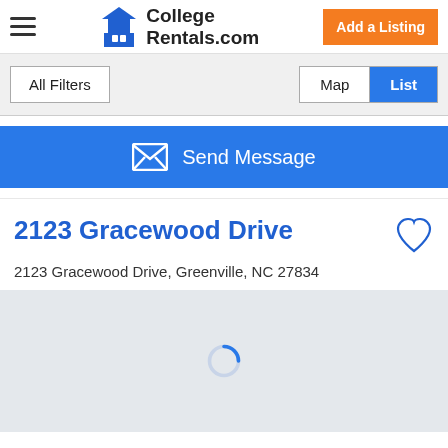CollegeRentals.com
All Filters
Map | List
Send Message
2123 Gracewood Drive
2123 Gracewood Drive, Greenville, NC 27834
[Figure (map): Loading map area showing spinner for 2123 Gracewood Drive, Greenville, NC 27834]